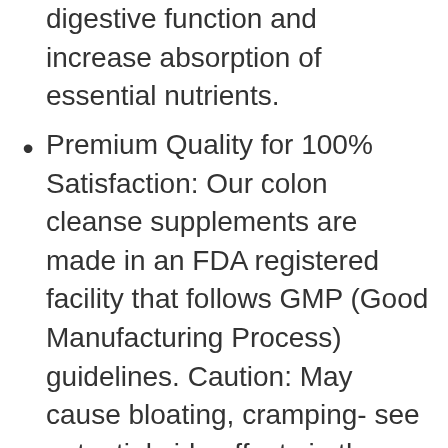digestive function and increase absorption of essential nutrients.
Premium Quality for 100% Satisfaction: Our colon cleanse supplements are made in an FDA registered facility that follows GMP (Good Manufacturing Process) guidelines. Caution: May cause bloating, cramping- see potential side effects in the safety warnings below.
Environmental Accountability: We take environmental responsibility seriously, continually look for ways